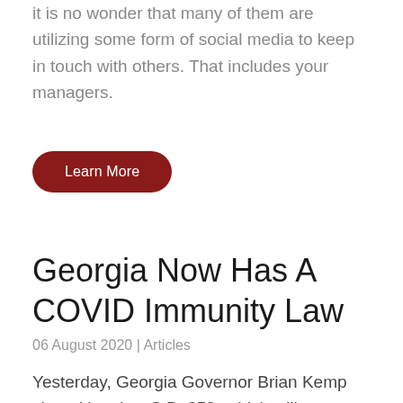it is no wonder that many of them are utilizing some form of social media to keep in touch with others. That includes your managers.
[Figure (other): Dark red rounded button labeled 'Learn More']
Georgia Now Has A COVID Immunity Law
06 August 2020 | Articles
Yesterday, Georgia Governor Brian Kemp signed into law S.B. 359, which will protect businesses and